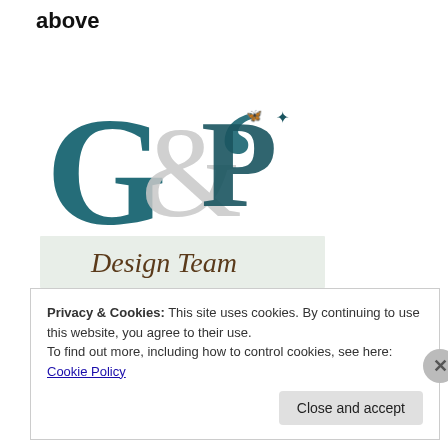above
[Figure (logo): Globecraft & Piccolo Design Team logo — stylized G&P monogram in teal/grey with 'Design Team' text and 'Globecraft & Piccolo' brand name below]
Based on the writings at apeiceofthepiehole.wordpress.com.
All permissions outside this arena of this license will need to contact me at: apeiceofthepiehole.wordpress.com.
Privacy & Cookies: This site uses cookies. By continuing to use this website, you agree to their use.
To find out more, including how to control cookies, see here: Cookie Policy